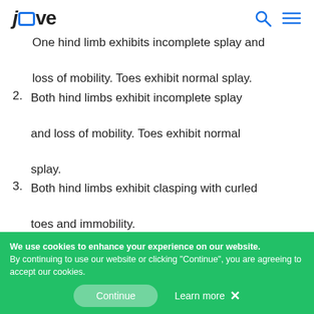jove
One hind limb exhibits incomplete splay and loss of mobility. Toes exhibit normal splay.
2. Both hind limbs exhibit incomplete splay and loss of mobility. Toes exhibit normal splay.
3. Both hind limbs exhibit clasping with curled toes and immobility.
4. Forelimbs and hind limbs exhibit clasping and are crossed, curled toes and immobility.
We use cookies to enhance your experience on our website. By continuing to use our website or clicking "Continue", you are agreeing to accept our cookies.